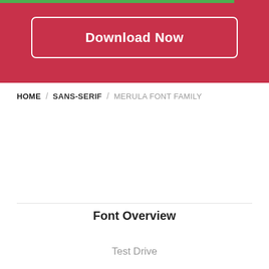[Figure (other): Red banner with Download Now button and green progress bar at top]
HOME / SANS-SERIF / MERULA FONT FAMILY
Font Overview
Test Drive
License
Comments
Description
Version 1.0.0